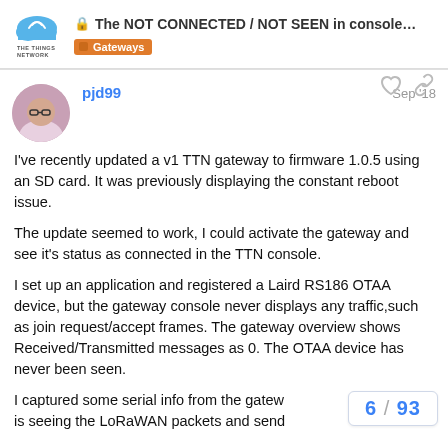The NOT CONNECTED / NOT SEEN in console... — Gateways
pjd99  Sep '18
I've recently updated a v1 TTN gateway to firmware 1.0.5 using an SD card. It was previously displaying the constant reboot issue.
The update seemed to work, I could activate the gateway and see it's status as connected in the TTN console.
I set up an application and registered a Laird RS186 OTAA device, but the gateway console never displays any traffic,such as join request/accept frames. The gateway overview shows Received/Transmitted messages as 0. The OTAA device has never been seen.
I captured some serial info from the gatew... is seeing the LoRaWAN packets and send...
6 / 93